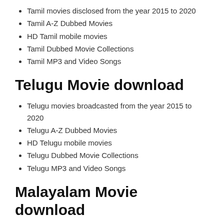Tamil movies disclosed from the year 2015 to 2020
Tamil A-Z Dubbed Movies
HD Tamil mobile movies
Tamil Dubbed Movie Collections
Tamil MP3 and Video Songs
Telugu Movie download
Telugu movies broadcasted from the year 2015 to 2020
Telugu A-Z Dubbed Movies
HD Telugu mobile movies
Telugu Dubbed Movie Collections
Telugu MP3 and Video Songs
Malayalam Movie download